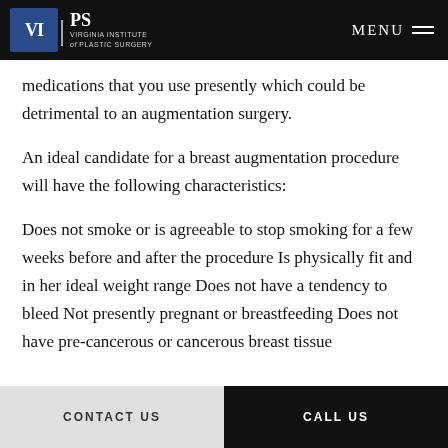VIPS Virginia Institute of Plastic Surgery | MENU
medications that you use presently which could be detrimental to an augmentation surgery.
An ideal candidate for a breast augmentation procedure will have the following characteristics:
Does not smoke or is agreeable to stop smoking for a few weeks before and after the procedure Is physically fit and in her ideal weight range Does not have a tendency to bleed Not presently pregnant or breastfeeding Does not have pre-cancerous or cancerous breast tissue
CONTACT US | CALL US